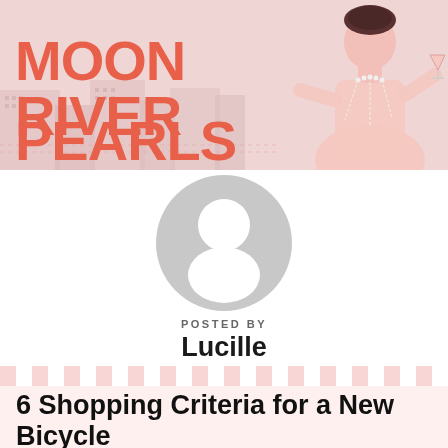[Figure (illustration): Moon River Pearls blog header banner with coral/salmon colored logo text reading MOONRIVER PEARLS on the left, and an illustrated 1920s-style woman holding a cocktail glass on the right, against a pink cityscape background]
[Figure (illustration): Default user profile avatar — grey circle with white silhouette of a person (head and shoulders)]
POSTED BY
Lucille
6 Shopping Criteria for a New Bicycle